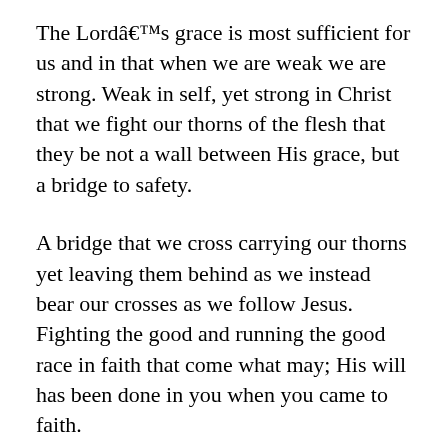The Lordâ€™s grace is most sufficient for us and in that when we are weak we are strong. Weak in self, yet strong in Christ that we fight our thorns of the flesh that they be not a wall between His grace, but a bridge to safety.
A bridge that we cross carrying our thorns yet leaving them behind as we instead bear our crosses as we follow Jesus. Fighting the good and running the good race in faith that come what may; His will has been done in you when you came to faith.
And in that faith, let us all pray for the help we need today, not that boast in ourselves, but that in the power of our Lord and Saviour we